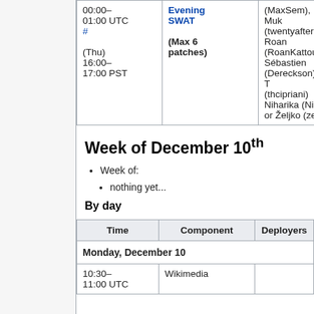| Time | Component | Deployers |
| --- | --- | --- |
| 00:00–01:00 UTC
(Thu) 16:00–17:00 PST | Evening SWAT #
(Max 6 patches) | (MaxSem), Muk...
(twentyafter...
Roan (RoanKattouw...
Sébastien (Dereckson), T...
(thcipriani)...
Niharika (Niha...
or Željko (zelj... |
Week of December 10th
Week of:
nothing yet...
By day
| Time | Component | Deployers |
| --- | --- | --- |
| Monday, December 10 |  |  |
| 10:30–11:00 UTC | Wikimedia... |  |